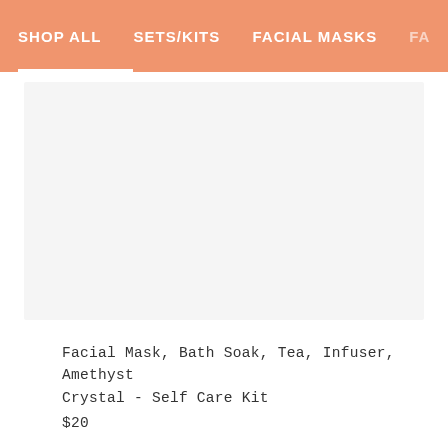SHOP ALL   SETS/KITS   FACIAL MASKS   FA...
[Figure (photo): Product image placeholder — light gray rectangle]
Facial Mask, Bath Soak, Tea, Infuser, Amethyst Crystal - Self Care Kit
$20
[Figure (photo): Second product image placeholder — light gray rectangle (partially visible)]